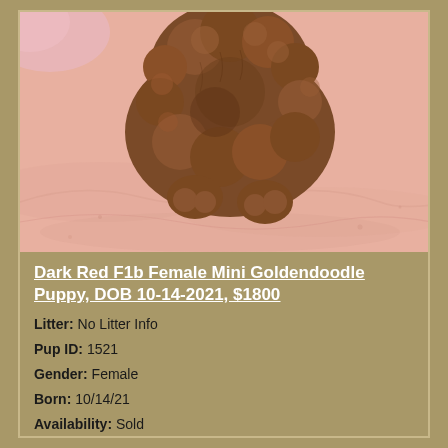[Figure (photo): Close-up photo of a dark red curly-haired mini goldendoodle puppy lying on a pink blanket, viewed from above/behind showing its fluffy back and paws.]
Dark Red F1b Female Mini Goldendoodle Puppy, DOB 10-14-2021, $1800
Litter: No Litter Info
Pup ID: 1521
Gender: Female
Born: 10/14/21
Availability: Sold